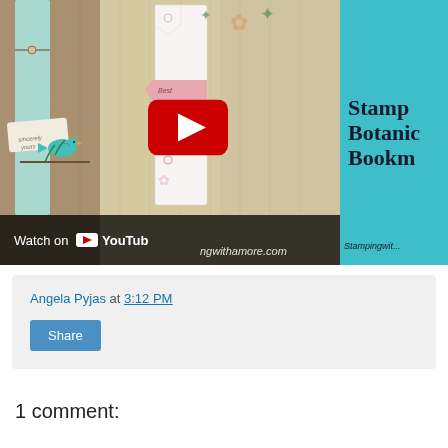[Figure (screenshot): YouTube video thumbnail showing craft bookmarks with stamped designs on wooden background. Left side shows craft items in brown/tan tones with a teal bird and white bookmark. Right side is teal background with partial text 'Stamp... Botanic... Bookm...' The video has a YouTube play button overlay and a bottom bar reading 'Watch on YouTube' with website URL 'ngwithamore.com' and 'Stampingwit...' on the right.]
Angela Pyjas at 3:12 PM
Share
1 comment: